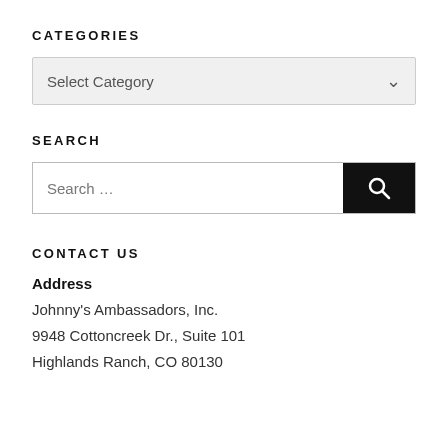CATEGORIES
[Figure (screenshot): Dropdown select box with 'Select Category' placeholder text and a chevron arrow on the right, styled with light gray background.]
SEARCH
[Figure (screenshot): Search input field with 'Search ...' placeholder text and a black search button with magnifying glass icon on the right.]
CONTACT US
Address
Johnny's Ambassadors, Inc.
9948 Cottoncreek Dr., Suite 101
Highlands Ranch, CO 80130